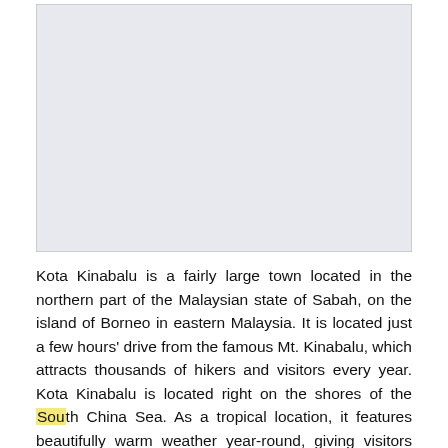[Figure (other): Large light gray rectangular image placeholder area]
Kota Kinabalu is a fairly large town located in the northern part of the Malaysian state of Sabah, on the island of Borneo in eastern Malaysia. It is located just a few hours' drive from the famous Mt. Kinabalu, which attracts thousands of hikers and visitors every year. Kota Kinabalu is located right on the shores of the South China Sea. As a tropical location, it features beautifully warm weather year-round, giving visitors the opportunity to enjoy the beaches around Kota Kinabalu. Other enjoyable activities include